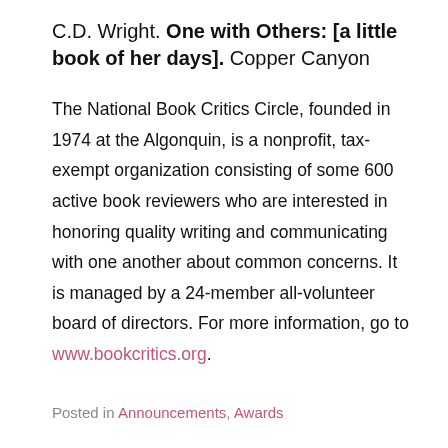C.D. Wright. One with Others: [a little book of her days]. Copper Canyon
The National Book Critics Circle, founded in 1974 at the Algonquin, is a nonprofit, tax-exempt organization consisting of some 600 active book reviewers who are interested in honoring quality writing and communicating with one another about common concerns. It is managed by a 24-member all-volunteer board of directors. For more information, go to www.bookcritics.org.
Posted in Announcements, Awards